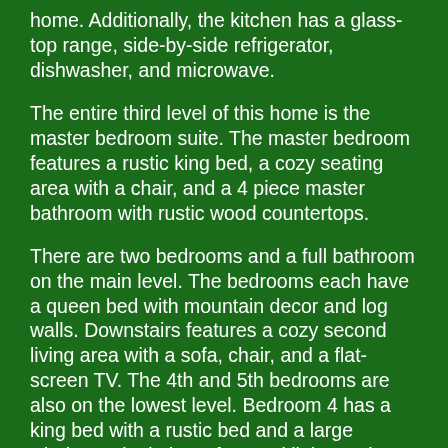home. Additionally, the kitchen has a glass-top range, side-by-side refrigerator, dishwasher, and microwave.
The entire third level of this home is the master bedroom suite. The master bedroom features a rustic king bed, a cozy seating area with a chair, and a 4 piece master bathroom with rustic wood countertops.
There are two bedrooms and a full bathroom on the main level. The bedrooms each have a queen bed with mountain decor and log walls. Downstairs features a cozy second living area with a sofa, chair, and a flat-screen TV. The 4th and 5th bedrooms are also on the lowest level. Bedroom 4 has a king bed with a rustic bed and a large window to let in lots of natural light. Bedroom 5 has two twin beds.
The back patio is a wonderful private retreat with a large stone patio, plenty of seating, propane grill, and hot tub. The patio is a perfect spot to relax at the end of a day spent enjoying the mountains. The wildlife viewing includes: Mule deer, bobcats,